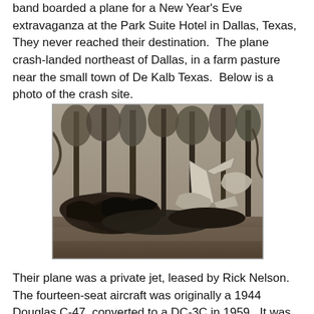band boarded a plane for a New Year's Eve extravaganza at the Park Suite Hotel in Dallas, Texas,  They never reached their destination.  The plane crash-landed northeast of Dallas, in a farm pasture near the small town of De Kalb Texas.  Below is a photo of the crash site.
[Figure (photo): Black and white photograph of an airplane crash site showing wreckage among trees in a farm pasture near De Kalb, Texas. The tail section of the aircraft is visible amid debris and burnt material.]
Their plane was a private jet, leased by Rick Nelson.  The fourteen-seat aircraft was originally a 1944 Douglas C-47, converted to a DC-3C in 1959.  It was once owned by the wealthy Du Pont family, one of America's most prominent